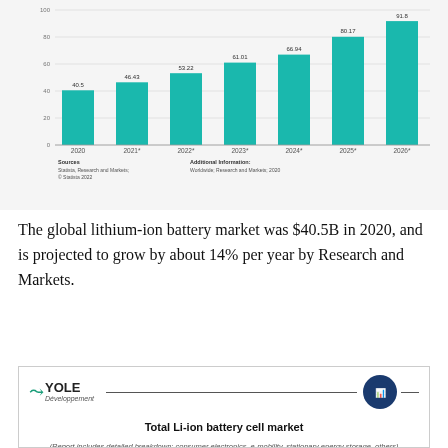[Figure (bar-chart): Global lithium-ion battery market revenue]
The global lithium-ion battery market was $40.5B in 2020, and is projected to grow by about 14% per year by Research and Markets.
[Figure (other): Yole Développement logo and header for Total Li-ion battery cell market report. Includes a horizontal rule, circular icon, bold title 'Total Li-ion battery cell market', and subtitle '(Report includes detailed breakdown: consumer electronics, e-mobility, stationary energy storage, others)']